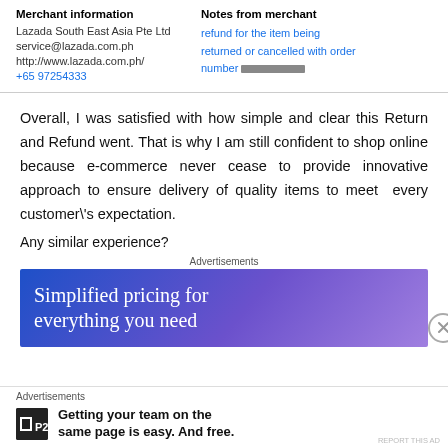| Merchant information | Notes from merchant |
| --- | --- |
| Lazada South East Asia Pte Ltd | refund for the item being returned or cancelled with order number ███████████ |
| service@lazada.com.ph |  |
| http://www.lazada.com.ph/ |  |
| +65 97254333 |  |
Overall, I was satisfied with how simple and clear this Return and Refund went. That is why I am still confident to shop online because e-commerce never cease to provide innovative approach to ensure delivery of quality items to meet every customer\'s expectation.
Any similar experience?
Advertisements
[Figure (other): Blue-to-purple gradient advertisement banner reading 'Simplified pricing for everything you need']
Advertisements
Getting your team on the same page is easy. And free.